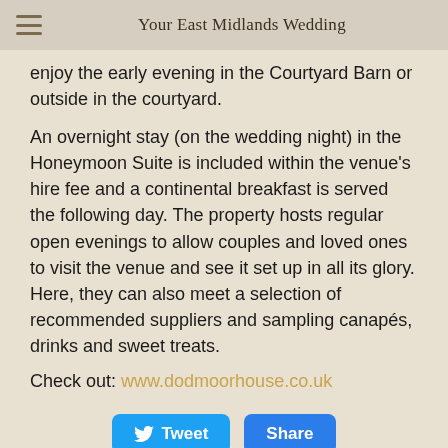Your East Midlands Wedding
enjoy the early evening in the Courtyard Barn or outside in the courtyard.
An overnight stay (on the wedding night) in the Honeymoon Suite is included within the venue's hire fee and a continental breakfast is served the following day. The property hosts regular open evenings to allow couples and loved ones to visit the venue and see it set up in all its glory. Here, they can also meet a selection of recommended suppliers and sampling canapés, drinks and sweet treats.
Check out: www.dodmoorhouse.co.uk
[Figure (other): Tweet and Share buttons at the bottom of the page]